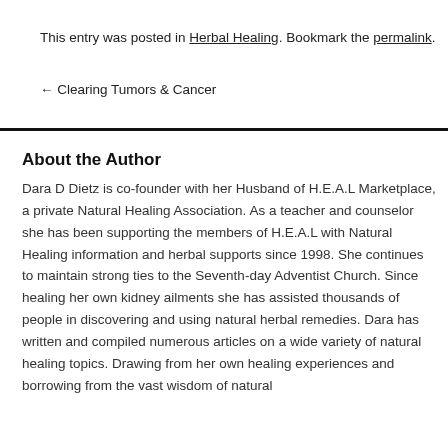This entry was posted in Herbal Healing. Bookmark the permalink.
← Clearing Tumors & Cancer
About the Author
Dara D Dietz is co-founder with her Husband of H.E.A.L Marketplace, a private Natural Healing Association. As a teacher and counselor she has been supporting the members of H.E.A.L with Natural Healing information and herbal supports since 1998. She continues to maintain strong ties to the Seventh-day Adventist Church. Since healing her own kidney ailments she has assisted thousands of people in discovering and using natural herbal remedies. Dara has written and compiled numerous articles on a wide variety of natural healing topics. Drawing from her own healing experiences and borrowing from the vast wisdom of natural